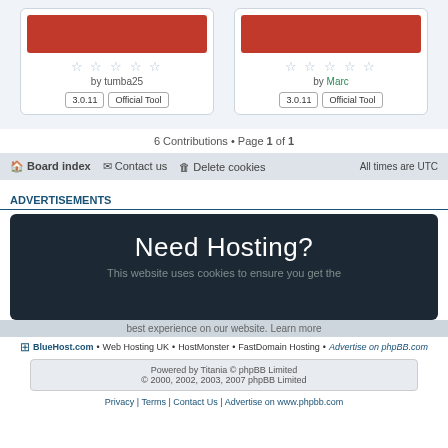[Figure (screenshot): Two contribution cards with orange image placeholders, star ratings, author bylines (tumba25, Marc), and version/type badges (3.0.11, Official Tool)]
6 Contributions • Page 1 of 1
Board index   Contact us   Delete cookies   All times are UTC
ADVERTISEMENTS
[Figure (screenshot): Dark banner ad saying 'Need Hosting?']
This website uses cookies to ensure you get the best experience on our website. Learn more
BlueHost.com • Web Hosting UK • HostMonster • FastDomain Hosting • Advertise on phpBB.com
Powered by Titania © phpBB Limited © 2000, 2002, 2003, 2007 phpBB Limited
Privacy | Terms | Contact Us | Advertise on www.phpbb.com